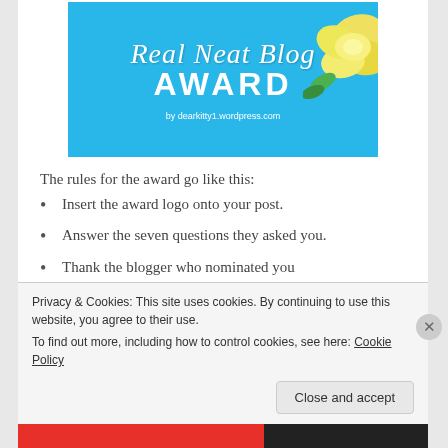[Figure (illustration): Real Neat Blog Award banner with cyan/blue background, decorative script text 'Real Neat Blog' in white, bold 'AWARD' text, yellow rose flower on right, and URL 'by dearkitty1.wordpress.com' at bottom]
The rules for the award go like this:
Insert the award logo onto your post.
Answer the seven questions they asked you.
Thank the blogger who nominated you
Nominate other bloggers and ask them seven questions (let them know you've nominated them!)
Privacy & Cookies: This site uses cookies. By continuing to use this website, you agree to their use. To find out more, including how to control cookies, see here: Cookie Policy
Close and accept